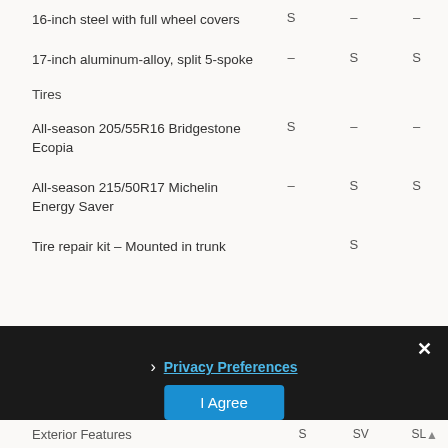| Feature | S | SV | SL |
| --- | --- | --- | --- |
| 16-inch steel with full wheel covers | S | – | – |
| 17-inch aluminum-alloy, split 5-spoke | – | S | S |
| Tires |  |  |  |
| All-season 205/55R16 Bridgestone Ecopia | S | – | – |
| All-season 215/50R17 Michelin Energy Saver | – | S | S |
| Tire repair kit – Mounted in trunk |  | S |  |
Privacy Preferences
| Exterior Features | S | SV | SL |
| --- | --- | --- | --- |